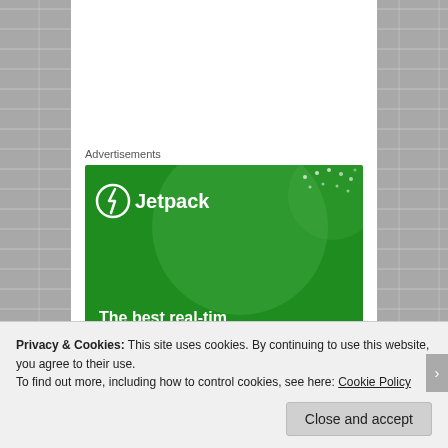Advertisements
[Figure (illustration): Jetpack advertisement banner — green background with large light-green circle decoration, Jetpack logo (circle with lightning bolt icon) and text 'Jetpack', bottom text partially visible 'The best real-time...']
“…even though I know the Light is ever found in the lost unlikely places” (p333).
“Hearing with understanding is perhaps the greater part of wisdom” (p247).
Privacy & Cookies: This site uses cookies. By continuing to use this website, you agree to their use.
To find out more, including how to control cookies, see here: Cookie Policy
Close and accept